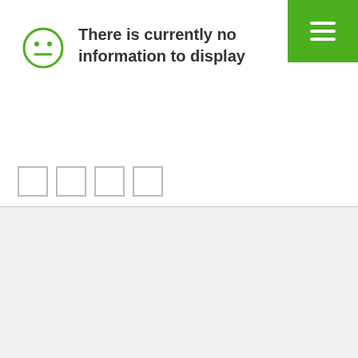[Figure (illustration): Green square button with hamburger menu icon (three white horizontal lines) in the top-right corner]
There is currently no information to display
[Figure (illustration): Four outlined empty placeholder boxes arranged horizontally]
[Figure (illustration): Light gray empty bottom section below a divider line]